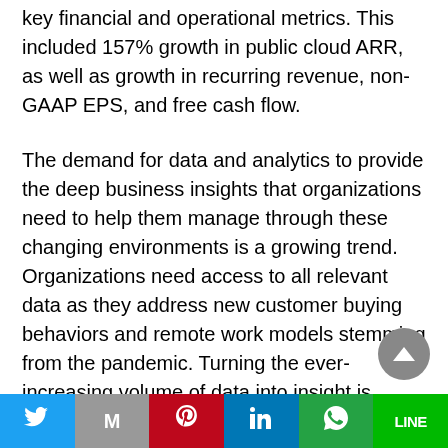key financial and operational metrics. This included 157% growth in public cloud ARR, as well as growth in recurring revenue, non-GAAP EPS, and free cash flow.
The demand for data and analytics to provide the deep business insights that organizations need to help them manage through these changing environments is a growing trend. Organizations need access to all relevant data as they address new customer buying behaviors and remote work models stemming from the pandemic. Turning the ever-increasing volume of data into insight is where Teradata has been focused for over 40-